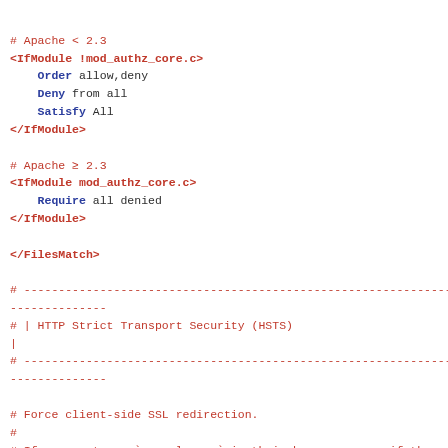# Apache < 2.3
<IfModule !mod_authz_core.c>
    Order allow,deny
    Deny from all
    Satisfy All
</IfModule>

# Apache >= 2.3
<IfModule mod_authz_core.c>
    Require all denied
</IfModule>

</FilesMatch>

# ----------------------------------------------------------------------
# | HTTP Strict Transport Security (HSTS)
|
# ----------------------------------------------------------------------

# Force client-side SSL redirection.
#
# If a user types `example.com` in their browser, even if the server
# redirects them to the secure version of the website, tha